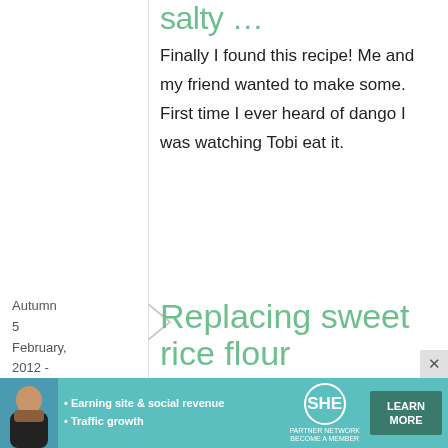salty …
Finally I found this recipe! Me and my friend wanted to make some. First time I ever heard of dango I was watching Tobi eat it.
Autumn
5
February, 2012 - 04:37
Replacing sweet rice flour
[Figure (other): Advertisement banner for SHE Partner Network featuring a woman photo, bullet points about earning site & social revenue and traffic growth, SHE logo, and a Learn More button]